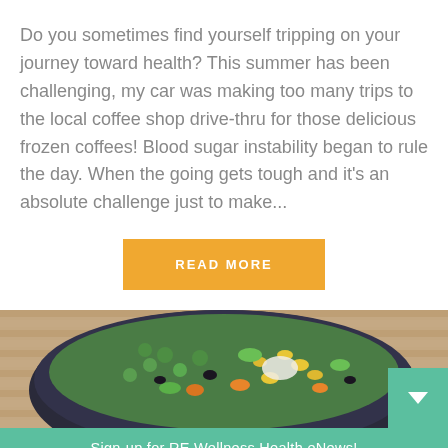Do you sometimes find yourself tripping on your journey toward health?  This summer has been challenging, my car was making too many trips to the local coffee shop drive-thru for those delicious frozen coffees!  Blood sugar instability began to rule the day. When the going gets tough and it's an absolute challenge just to make...
READ MORE
[Figure (photo): Overhead photo of a dark bowl filled with colorful mixed vegetables including peas, corn, edamame, carrots, and other vegetables, placed on a wooden slatted surface]
Sign-up for RE Wellness Health eNews!
Your email address...
GO